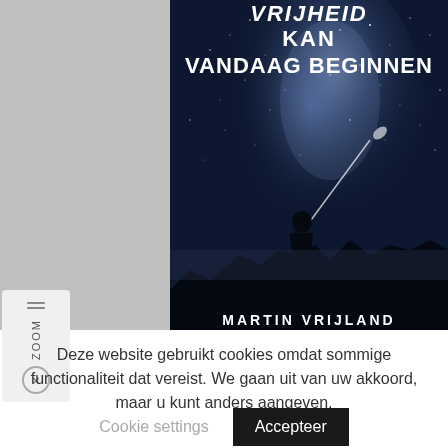[Figure (photo): Book cover showing a silhouette of a person standing on rocky terrain pointing a flashlight beam into a dramatic starry night sky with the Milky Way visible. Title text at top reads '...VRIJHEID KAN VANDAAG BEGINNEN' in bold white uppercase letters. Author name 'MARTIN VRIJLAND' partially visible at bottom.]
Deze website gebruikt cookies omdat sommige functionaliteit dat vereist. We gaan uit van uw akkoord, maar u kunt anders aangeven.
Cookie settings
Accepteer